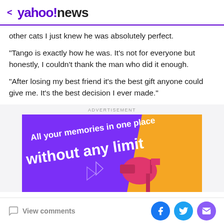< yahoo!news
other cats I just knew he was absolutely perfect.
"Tango is exactly how he was. It's not for everyone but honestly, I couldn't thank the man who did it enough.
"After losing my best friend it's the best gift anyone could give me. It's the best decision I ever made."
ADVERTISEMENT
[Figure (illustration): Advertisement banner with purple and orange background showing a pink mailbox and the text 'All your memories in one place without any limit']
View comments